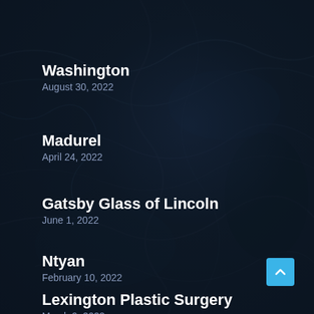Washington
August 30, 2022
Madurel
April 24, 2022
Gatsby Glass of Lincoln
June 1, 2022
Ntyan
February 10, 2022
Lexington Plastic Surgery
March 9, 2022
[Figure (illustration): Dark navy blue textured background resembling stone or water surface with a scroll-to-top button (light blue square with upward chevron) in the bottom right corner]